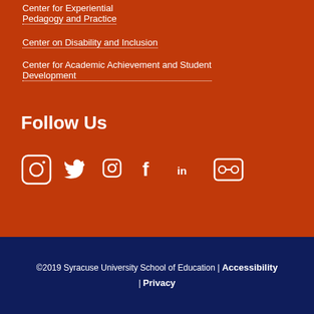Center for Experiential Pedagogy and Practice
Center on Disability and Inclusion
Center for Academic Achievement and Student Development
Follow Us
[Figure (illustration): Social media icons: Instagram, Twitter, Facebook, LinkedIn, Flickr]
©2019 Syracuse University School of Education | Accessibility | Privacy